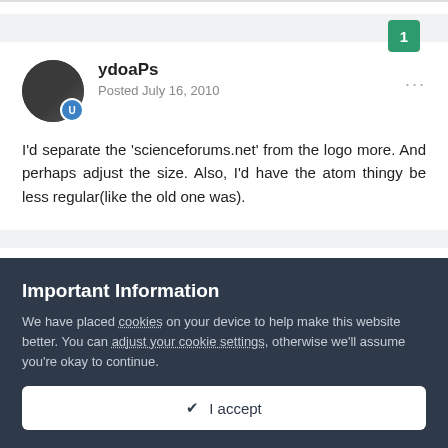1
ydoaPs
Posted July 16, 2010
I'd separate the 'scienceforums.net' from the logo more. And perhaps adjust the size. Also, I'd have the atom thingy be less regular(like the old one was).
Important Information
We have placed cookies on your device to help make this website better. You can adjust your cookie settings, otherwise we'll assume you're okay to continue.
✔ I accept